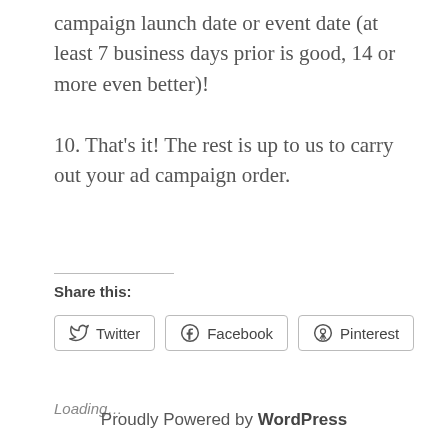campaign launch date or event date (at least 7 business days prior is good, 14 or more even better)!
10. That's it! The rest is up to us to carry out your ad campaign order.
Share this:
Twitter  Facebook  Pinterest
Loading…
Proudly Powered by WordPress